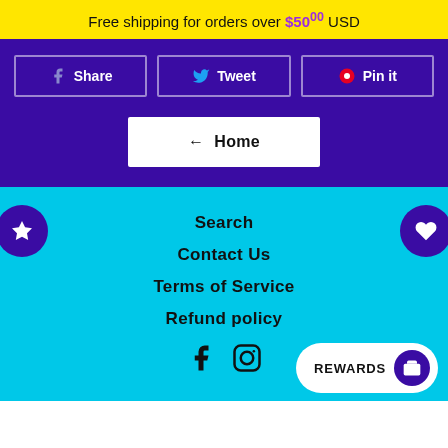Free shipping for orders over $50.00 USD
Share
Tweet
Pin it
← Home
Search
Contact Us
Terms of Service
Refund policy
REWARDS